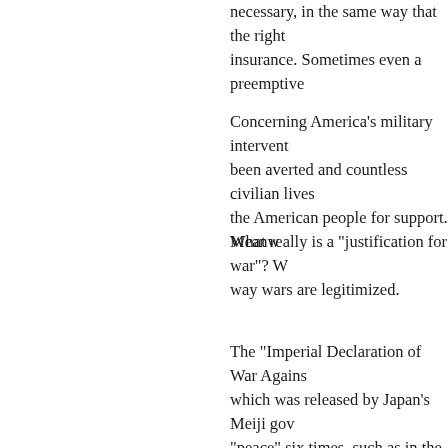necessary, in the same way that the right insurance. Sometimes even a preemptive
Concerning America's military intervent been averted and countless civilian lives the American people for support. Meanw
What really is a "justification for war"? way wars are legitimized.
The "Imperial Declaration of War Agains which was released by Japan's Meiji gov "peace" six times, such as in the phrase, of justifying war. It may be that America
The scholar Michael Walzer has publishe About War."
Walzer, who grew up during World War military intervention against acts of atroc grounds. Among the specific points that